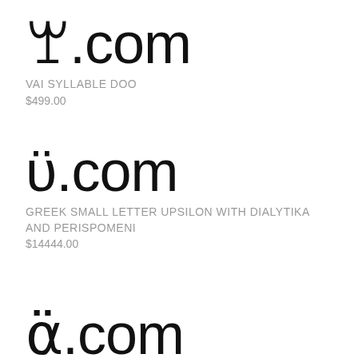ꘃ.com
VAI SYLLABLE DOO
$499.00
ϋ.com
GREEK SMALL LETTER UPSILON WITH DIALYTIKA AND PERISPOMENI
$14444.00
α̈.com